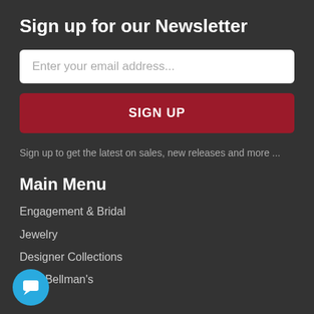Sign up for our Newsletter
Enter your email address...
SIGN UP
Sign up to get the latest on sales, new releases and more ...
Main Menu
Engagement & Bridal
Jewelry
Designer Collections
Why Bellman's